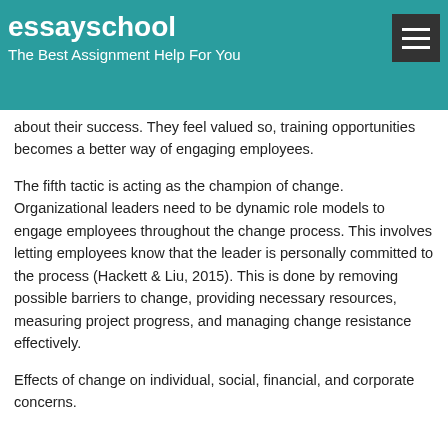essayschool
The Best Assignment Help For You
about their success. They feel valued so, training opportunities becomes a better way of engaging employees.
The fifth tactic is acting as the champion of change. Organizational leaders need to be dynamic role models to engage employees throughout the change process. This involves letting employees know that the leader is personally committed to the process (Hackett & Liu, 2015). This is done by removing possible barriers to change, providing necessary resources, measuring project progress, and managing change resistance effectively.
Effects of change on individual, social, financial, and corporate concerns.